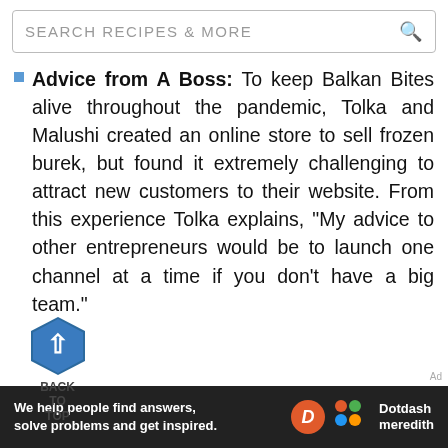SEARCH RECIPES & MORE
Advice from A Boss: To keep Balkan Bites alive throughout the pandemic, Tolka and Malushi created an online store to sell frozen burek, but found it extremely challenging to attract new customers to their website. From this experience Tolka explains, "My advice to other entrepreneurs would be to launch one channel at a time if you don't have a big team."
Their Nominee: We love Jaju Pierogi! These handcrafted pierogi delicious and the founders (and sisters), Vanessa and Casey
[Figure (infographic): Back to top button: blue hexagon with white upward arrow, labeled BACK TO TOP]
[Figure (logo): Dotdash Meredith advertisement banner: dark background with text 'We help people find answers, solve problems and get inspired.' with Dotdash Meredith logo]